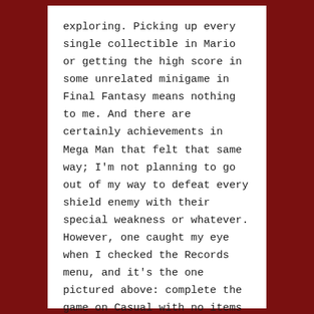exploring. Picking up every single collectible in Mario or getting the high score in some unrelated minigame in Final Fantasy means nothing to me. And there are certainly achievements in Mega Man that felt that same way; I'm not planning to go out of my way to defeat every shield enemy with their special weakness or whatever. However, one caught my eye when I checked the Records menu, and it's the one pictured above: complete the game on Casual with no items or parts.
I'd already completed the game on Casual once. Surely I could do it again without items, right? I'd learned to rely on e-tanks in my first playthrough, but my